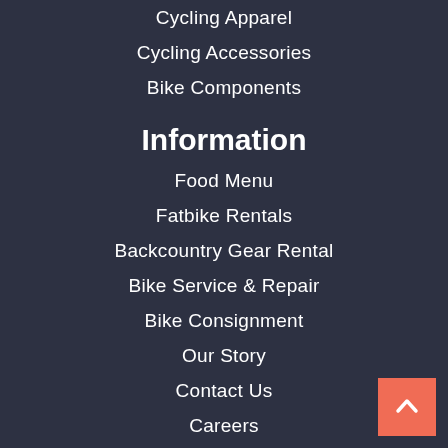Cycling Apparel
Cycling Accessories
Bike Components
Information
Food Menu
Fatbike Rentals
Backcountry Gear Rental
Bike Service & Repair
Bike Consignment
Our Story
Contact Us
Careers
[Figure (other): Back to top button with upward chevron arrow on salmon/coral background]